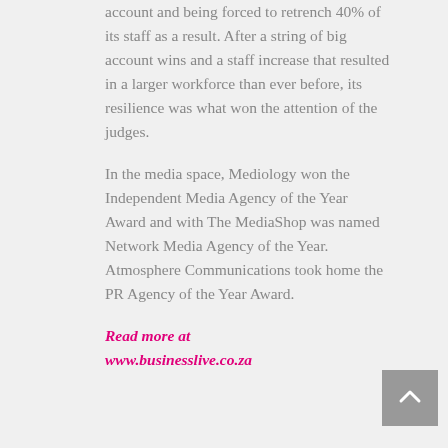account and being forced to retrench 40% of its staff as a result. After a string of big account wins and a staff increase that resulted in a larger workforce than ever before, its resilience was what won the attention of the judges.
In the media space, Mediology won the Independent Media Agency of the Year Award and with The MediaShop was named Network Media Agency of the Year. Atmosphere Communications took home the PR Agency of the Year Award.
Read more at www.businesslive.co.za